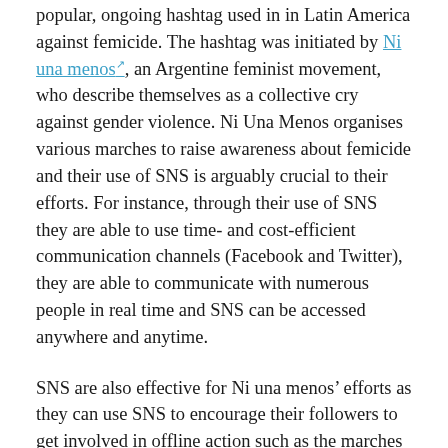popular, ongoing hashtag used in in Latin America against femicide. The hashtag was initiated by Ni una menos, an Argentine feminist movement, who describe themselves as a collective cry against gender violence. Ni Una Menos organises various marches to raise awareness about femicide and their use of SNS is arguably crucial to their efforts. For instance, through their use of SNS they are able to use time- and cost-efficient communication channels (Facebook and Twitter), they are able to communicate with numerous people in real time and SNS can be accessed anywhere and anytime.
SNS are also effective for Ni una menos' efforts as they can use SNS to encourage their followers to get involved in offline action such as the marches they organise. A prime example of an effective offline activity organised by Ni una menos, in collaboration with other activist groups, was a first-ever women mass strike on October 19, 2016. The mass strike was in response to the murder of 16-year-old Lucia Pérez who was